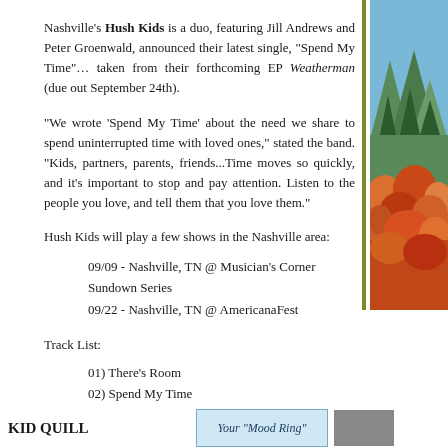Nashville's Hush Kids is a duo, featuring Jill Andrews and Peter Groenwald, announced their latest single, “Spend My Time”… taken from their forthcoming EP Weatherman (due out September 24th).
“We wrote ‘Spend My Time’ about the need we share to spend uninterrupted time with loved ones,” stated the band. “Kids, partners, parents, friends...Time moves so quickly, and it’s important to stop and pay attention. Listen to the people you love, and tell them that you love them.”
Hush Kids will play a few shows in the Nashville area:
09/09 - Nashville, TN @ Musician's Corner Sundown Series
09/22 - Nashville, TN @ AmericanaFest
Track List:
01) There’s Room
02) Spend My Time
03) Love Don't Disappear
04) Weatherman
05) All The Way
06) Look at the Sun
[Figure (illustration): Colorful illustrated image with trees, mountains, and autumn foliage in green, blue, and orange tones on the right sidebar.]
KID QUILL
[Figure (screenshot): Blue box with text 'Your "Mood Ring"']
[Figure (photo): Dark thumbnail image at bottom right]